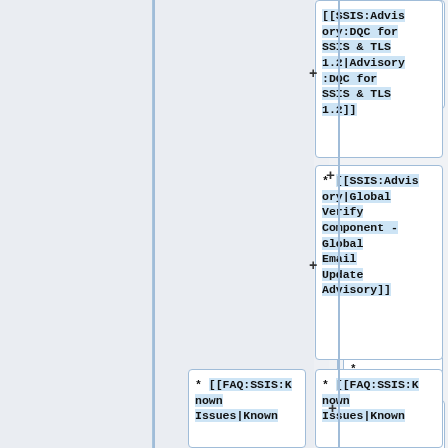[[SSIS:Advisory:DQC for SSIS & TLS 1.2|Advisory:DQC for SSIS & TLS 1.2]]
* [[SSIS:Advisory|Global Verify Component - Global Email Update Advisory]]
* [[FAQ:SSIS:Known Issues|Known
* [[FAQ:SSIS:Known Issues|Known